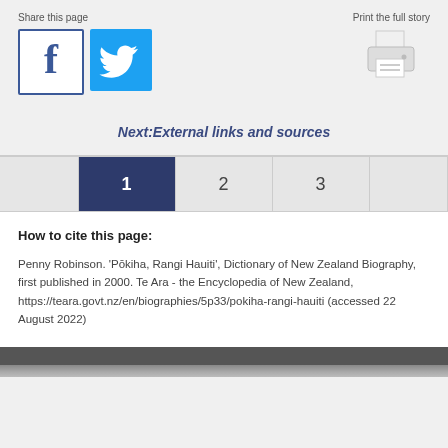Share this page
[Figure (logo): Facebook and Twitter social share icons]
Print the full story
[Figure (illustration): Printer icon]
Next:External links and sources
1  2  3
How to cite this page:
Penny Robinson. 'Pōkiha, Rangi Hauiti', Dictionary of New Zealand Biography, first published in 2000. Te Ara - the Encyclopedia of New Zealand, https://teara.govt.nz/en/biographies/5p33/pokiha-rangi-hauiti (accessed 22 August 2022)